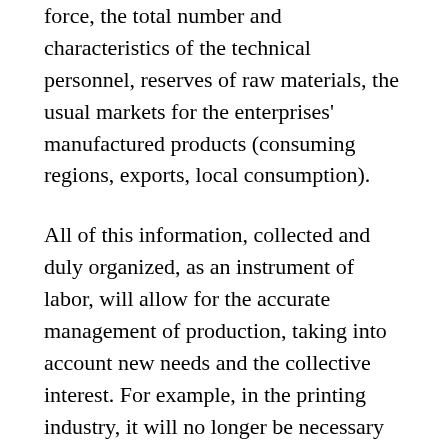force, the total number and characteristics of the technical personnel, reserves of raw materials, the usual markets for the enterprises' manufactured products (consuming regions, exports, local consumption).
All of this information, collected and duly organized, as an instrument of labor, will allow for the accurate management of production, taking into account new needs and the collective interest. For example, in the printing industry, it will no longer be necessary to publish all the newspapers that currently circulate and which respond to the interests of political parties and capitalist enterprises. It would be better to provide for the needs of the workers displaced from these jobs at these newspapers rather than to waste energy and raw materials that are often so hard to obtain.